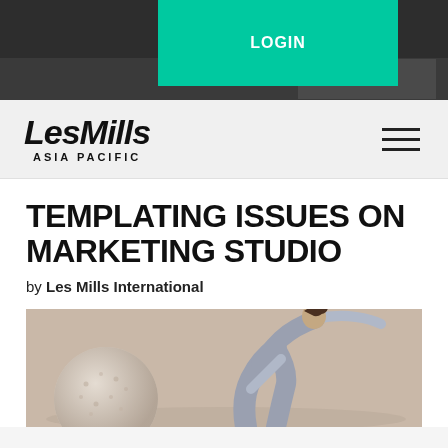LOGIN
Search...
[Figure (logo): Les Mills Asia Pacific logo in bold italic black text]
TEMPLATING ISSUES ON MARKETING STUDIO
by Les Mills International
[Figure (photo): Woman in grey athletic wear performing a yoga/pilates pose beside a large textured sphere ball, on a warm beige background]